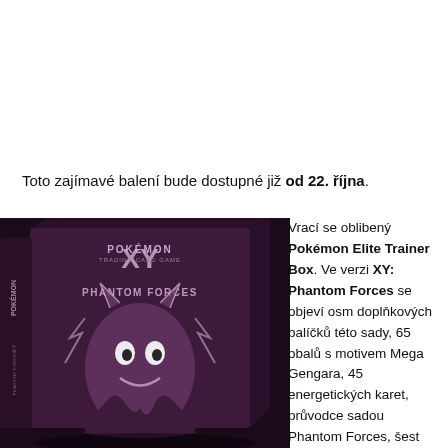Toto zajímavé balení bude dostupné již od 22. října.
[Figure (photo): Pokémon XY Phantom Forces Elite Trainer Box — dark purple/maroon box with Mega Gengar artwork and Pokémon Trading Card Game logo]
Vrací se oblibený Pokémon Elite Trainer Box. Ve verzi XY: Phantom Forces se objeví osm doplňkových balíčků této sady, 65 obalů s motivem Mega Gengara, 45 energetických karet, průvodce sadou Phantom Forces, šest